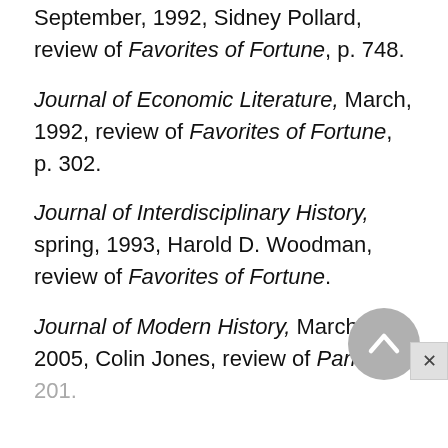September, 1992, Sidney Pollard, review of Favorites of Fortune, p. 748.
Journal of Economic Literature, March, 1992, review of Favorites of Fortune, p. 302.
Journal of Interdisciplinary History, spring, 1993, Harold D. Woodman, review of Favorites of Fortune.
Journal of Modern History, March, 2005, Colin Jones, review of Paris, p. 201.